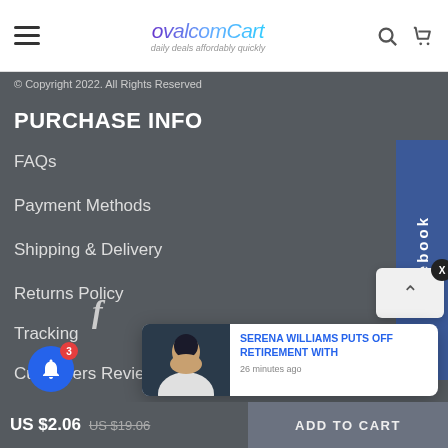ovalcomCart — daily deals affordably quickly
© Copyright 2022. All Rights Reserved
PURCHASE INFO
FAQs
Payment Methods
Shipping & Delivery
Returns Policy
Tracking
Customers Review
[Figure (screenshot): Facebook social media sidebar button (rotated 'facebook' text on blue background)]
[Figure (screenshot): Notification popup: 'SERENA WILLIAMS PUTS OFF RETIREMENT WITH' — 26 minutes ago, with thumbnail photo]
US $2.06  US $19.06
ADD TO CART